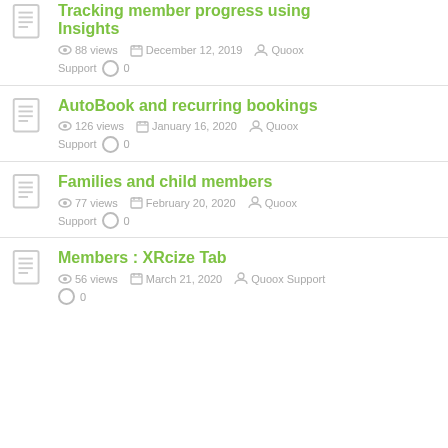Tracking member progress using Insights | 88 views | December 12, 2019 | Quoox Support | 0
AutoBook and recurring bookings | 126 views | January 16, 2020 | Quoox Support | 0
Families and child members | 77 views | February 20, 2020 | Quoox Support | 0
Members : XRcize Tab | 56 views | March 21, 2020 | Quoox Support | 0